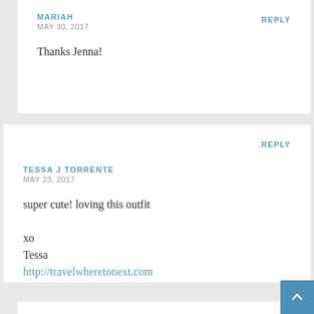MARIAH
MAY 30, 2017
REPLY
Thanks Jenna!
TESSA J TORRENTE
MAY 23, 2017
REPLY
super cute! loving this outfit

xo
Tessa
http://travelwheretonext.com